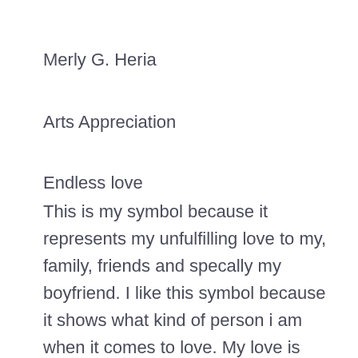Merly G. Heria
Arts Appreciation
Endless love
This is my symbol because it represents my unfulfilling love to my, family, friends and specally my boyfriend. I like this symbol because it shows what kind of person i am when it comes to love. My love is never